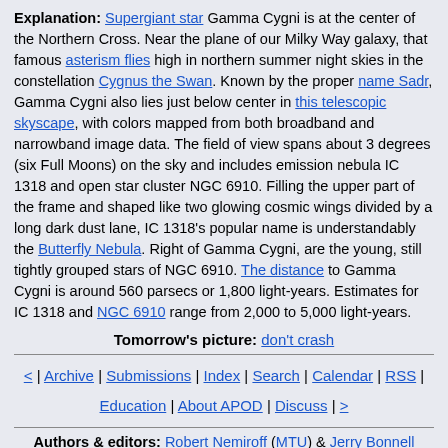Explanation: Supergiant star Gamma Cygni is at the center of the Northern Cross. Near the plane of our Milky Way galaxy, that famous asterism flies high in northern summer night skies in the constellation Cygnus the Swan. Known by the proper name Sadr, Gamma Cygni also lies just below center in this telescopic skyscape, with colors mapped from both broadband and narrowband image data. The field of view spans about 3 degrees (six Full Moons) on the sky and includes emission nebula IC 1318 and open star cluster NGC 6910. Filling the upper part of the frame and shaped like two glowing cosmic wings divided by a long dark dust lane, IC 1318's popular name is understandably the Butterfly Nebula. Right of Gamma Cygni, are the young, still tightly grouped stars of NGC 6910. The distance to Gamma Cygni is around 560 parsecs or 1,800 light-years. Estimates for IC 1318 and NGC 6910 range from 2,000 to 5,000 light-years.
Tomorrow's picture: don't crash
< | Archive | Submissions | Index | Search | Calendar | RSS | Education | About APOD | Discuss | >
Authors & editors: Robert Nemiroff (MTU) & Jerry Bonnell (UMCP)
NASA Official: Phillip Newman Specific rights apply.